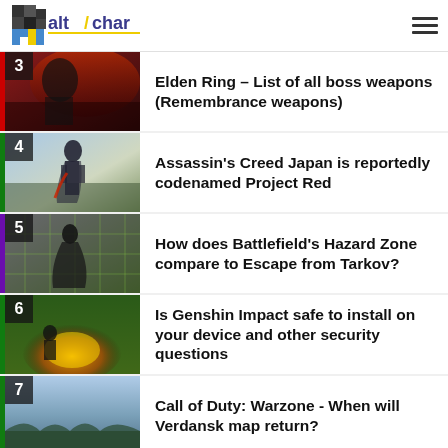AltChar
3 Elden Ring – List of all boss weapons (Remembrance weapons)
4 Assassin's Creed Japan is reportedly codenamed Project Red
5 How does Battlefield's Hazard Zone compare to Escape from Tarkov?
6 Is Genshin Impact safe to install on your device and other security questions
7 Call of Duty: Warzone - When will Verdansk map return?